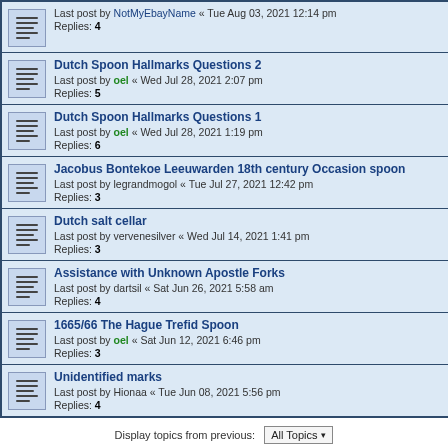Dutch Spoon Hallmarks Questions 2 — Last post by oel « Wed Jul 28, 2021 2:07 pm — Replies: 5
Dutch Spoon Hallmarks Questions 1 — Last post by oel « Wed Jul 28, 2021 1:19 pm — Replies: 6
Jacobus Bontekoe Leeuwarden 18th century Occasion spoon — Last post by legrandmogol « Tue Jul 27, 2021 12:42 pm — Replies: 3
Dutch salt cellar — Last post by vervenesilver « Wed Jul 14, 2021 1:41 pm — Replies: 3
Assistance with Unknown Apostle Forks — Last post by dartsil « Sat Jun 26, 2021 5:58 am — Replies: 4
1665/66 The Hague Trefid Spoon — Last post by oel « Sat Jun 12, 2021 6:46 pm — Replies: 3
Unidentified marks — Last post by Hionaa « Tue Jun 08, 2021 5:56 pm — Replies: 4
Display topics from previous: All Topics ▾
Sort by Post time ▾
Descending ▾
Go